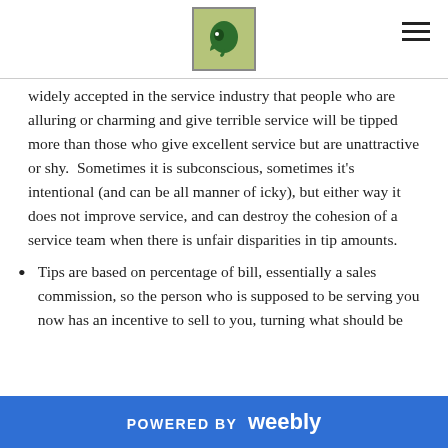[Logo image] [Hamburger menu icon]
widely accepted in the service industry that people who are alluring or charming and give terrible service will be tipped more than those who give excellent service but are unattractive or shy.  Sometimes it is subconscious, sometimes it's intentional (and can be all manner of icky), but either way it does not improve service, and can destroy the cohesion of a service team when there is unfair disparities in tip amounts.
Tips are based on percentage of bill, essentially a sales commission, so the person who is supposed to be serving you now has an incentive to sell to you, turning what should be
POWERED BY weebly